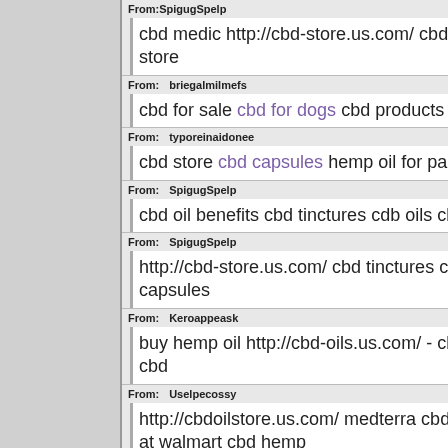From: SpigugSpelp
cbd medic http://cbd-store.us.com/ cbd o store
From: briegalmilmefs
cbd for sale cbd for dogs cbd products
From: typoreinaidonee
cbd store cbd capsules hemp oil for pain
From: SpigugSpelp
cbd oil benefits cbd tinctures cdb oils cbc
From: SpigugSpelp
http://cbd-store.us.com/ cbd tinctures cbc capsules
From: Keroappeask
buy hemp oil http://cbd-oils.us.com/ - cbc cbd
From: Uselpecossy
http://cbdoilstore.us.com/ medterra cbd h at walmart cbd hemp
From: SpigugSpelp
hemp cbd oil cbd oil for pain cbd product
From: typoreinaidonee
cbd oil at walmart cbd for sale cbd vape l